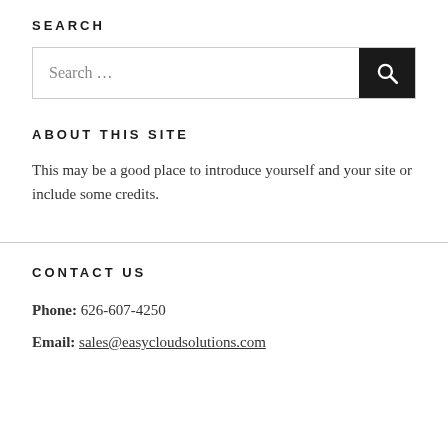SEARCH
[Figure (screenshot): Search input box with text 'Search …' and a black search button with magnifying glass icon]
ABOUT THIS SITE
This may be a good place to introduce yourself and your site or include some credits.
CONTACT US
Phone: 626-607-4250
Email: sales@easycloudsolutions.com